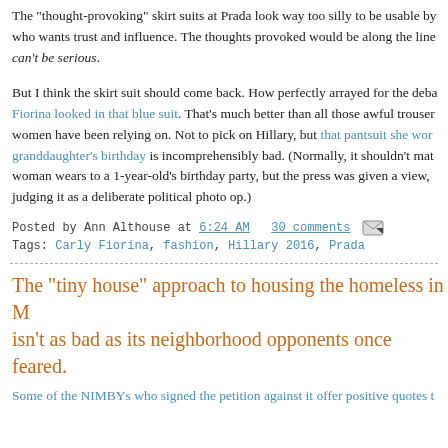The "thought-provoking" skirt suits at Prada look way too silly to be usable by who wants trust and influence. The thoughts provoked would be along the lines of can't be serious.
But I think the skirt suit should come back. How perfectly arrayed for the deba Fiorina looked in that blue suit. That's much better than all those awful trouser women have been relying on. Not to pick on Hillary, but that pantsuit she wor granddaughter's birthday is incomprehensibly bad. (Normally, it shouldn't mat woman wears to a 1-year-old's birthday party, but the press was given a view, judging it as a deliberate political photo op.)
Posted by Ann Althouse at 6:24 AM  30 comments
Tags: Carly Fiorina, fashion, Hillary 2016, Prada
The "tiny house" approach to housing the homeless in M isn't as bad as its neighborhood opponents once feared.
Some of the NIMBYs who signed the petition against it offer positive quotes t